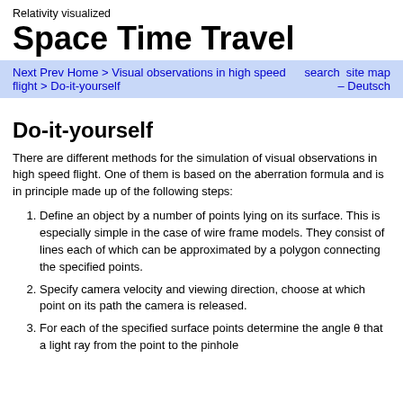Relativity visualized
Space Time Travel
Next Prev Home > Visual observations in high speed flight > Do-it-yourself    search  site map – Deutsch
Do-it-yourself
There are different methods for the simulation of visual observations in high speed flight. One of them is based on the aberration formula and is in principle made up of the following steps:
Define an object by a number of points lying on its surface. This is especially simple in the case of wire frame models. They consist of lines each of which can be approximated by a polygon connecting the specified points.
Specify camera velocity and viewing direction, choose at which point on its path the camera is released.
For each of the specified surface points determine the angle θ that a light ray from the point to the pinhole